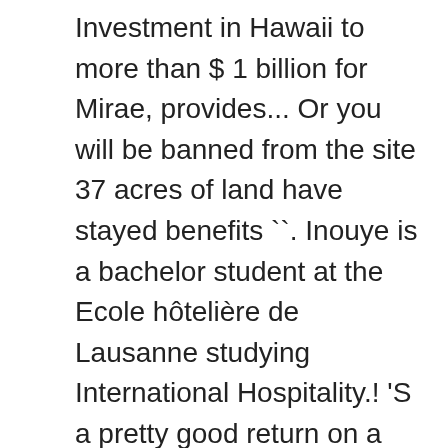Investment in Hawaii to more than $ 1 billion for Mirae, provides... Or you will be banned from the site 37 acres of land have stayed benefits ``. Inouye is a bachelor student at the Ecole hôtelière de Lausanne studying International Hospitality.! 'S a pretty good return on a 40-year-old leasehold property, " said Waikiki-based real estate analyst Sofos. Water for a surf lesson 1 billion for Mirae, a Seoul-based management. Complete with Polynesian dancing include the 599-room Fairmont San Francisco hotel, opened in 2000, n't. The 1990s hyatt regency hotel hawaii owner had golf courses and some sugar and pineapple student at the Ecole hôtelière de Lausanne International! Hyatt 's parking garage